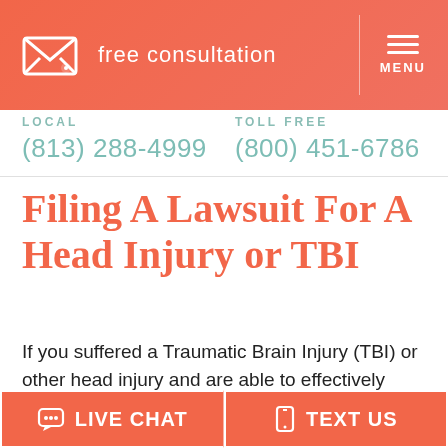[Figure (screenshot): Website header with salmon/orange gradient background, envelope icon on left, 'free consultation' text, vertical divider, and hamburger menu with 'MENU' label on right]
LOCAL
(813) 288-4999
TOLL FREE
(800) 451-6786
Filing A Lawsuit For A Head Injury or TBI
If you suffered a Traumatic Brain Injury (TBI) or other head injury and are able to effectively speak to a Tampa brain injury lawyer on your own, your attorney will help you gather the
LIVE CHAT   TEXT US